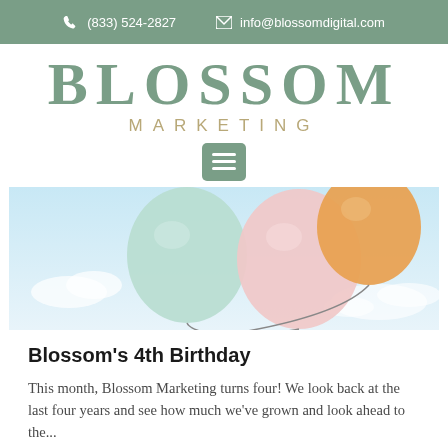(833) 524-2827   info@blossomdigital.com
BLOSSOM MARKETING
[Figure (photo): Colorful balloons (mint green, pink, orange) floating against a light blue sky with soft clouds]
Blossom's 4th Birthday
This month, Blossom Marketing turns four! We look back at the last four years and see how much we've grown and look ahead to the...